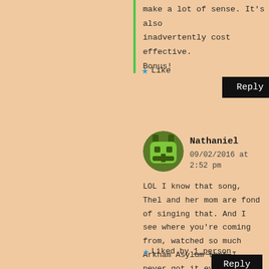make a lot of sense. It's also inadvertently cost effective. Bonus!
Like
Reply
Nathaniel
09/02/2016 at 2:52 pm
LOL I know that song, Thel and her mom are fond of singing that. And I see where you're coming from, watched so much Arkham Asylum that I never got it even though I enjoyed the gameplay a lot.
Liked by 1 person
Reply